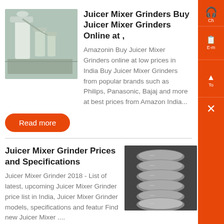[Figure (photo): Industrial equipment / factory with cylinders and pipes]
Juicer Mixer Grinders Buy Juicer Mixer Grinders Online at ,
Amazonin Buy Juicer Mixer Grinders online at low prices in India Buy Juicer Mixer Grinders from popular brands such as Philips, Panasonic, Bajaj and more at best prices from Amazon India...
Read more
Juicer Mixer Grinder Prices and Specifications
Juicer Mixer Grinder 2018 - List of latest, upcoming Juicer Mixer Grinder price list in India, Juicer Mixer Grinder models, specifications and featur Find new Juicer Mixer ....
[Figure (photo): Stacked metal grinder jars / bowls in grey tone]
Read more